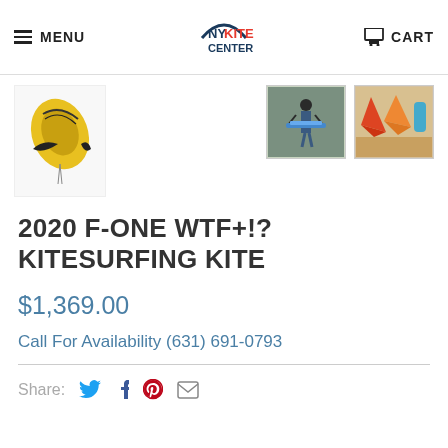MENU | NY KITE CENTER | CART
[Figure (photo): Product image of a yellow/black F-ONE WTF+!? kitesurfing kite]
[Figure (photo): Thumbnail photo of a person standing with kitesurfing equipment on a beach]
[Figure (photo): Thumbnail photo of colorful kites on a beach]
2020 F-ONE WTF+!? KITESURFING KITE
$1,369.00
Call For Availability (631) 691-0793
Share: